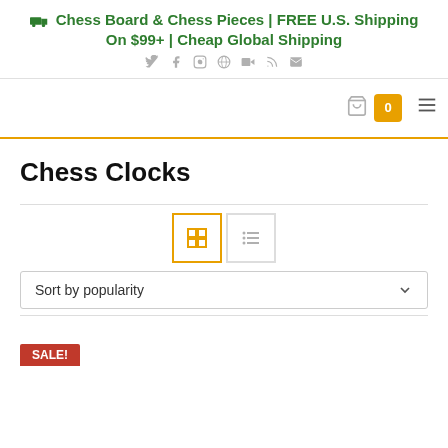Chess Board & Chess Pieces | FREE U.S. Shipping On $99+ | Cheap Global Shipping
Chess Clocks
Sort by popularity